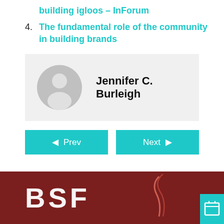building igloos – InForum
4. The fundamental role of the community in building brands
[Figure (other): Author card with placeholder avatar and name Jennifer C. Burleigh on grey background]
Jennifer C. Burleigh
◀ Prev
Next ▶
[Figure (photo): Dark red background with large white letters BSF and a smoke/flame graphic element in the lower portion of the page]